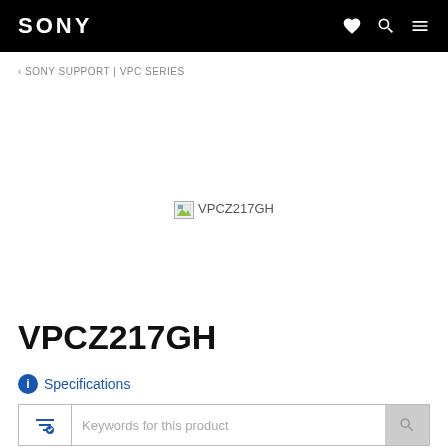SONY
‹ SONY SUPPORT | VPC SERIES
[Figure (photo): Broken/missing product image placeholder labeled VPCZ217GH]
VPCZ217GH
ⓘ Specifications
Keywords for this product